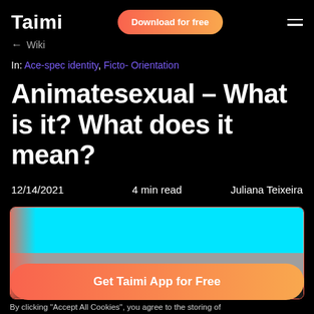Taimi
← Wiki
In: Ace-spec identity, Ficto- Orientation
Animatesexual - What is it? What does it mean?
12/14/2021   4 min read   Juliana Teixeira
[Figure (illustration): Animatesexual pride flag showing horizontal stripes: cyan on top, gray in the middle, with a gradient orange-pink overlay on the left side.]
Get Taimi App for Free
By clicking "Accept All Cookies", you agree to the storing of